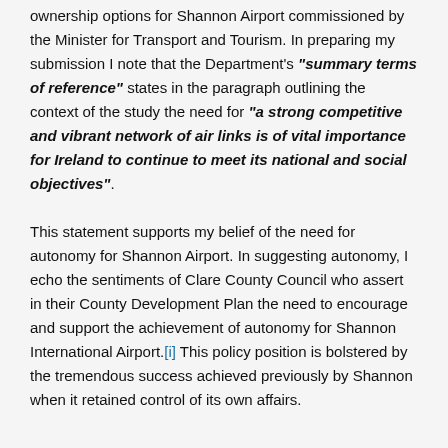ownership options for Shannon Airport commissioned by the Minister for Transport and Tourism. In preparing my submission I note that the Department's "summary terms of reference" states in the paragraph outlining the context of the study the need for "a strong competitive and vibrant network of air links is of vital importance for Ireland to continue to meet its national and social objectives".
This statement supports my belief of the need for autonomy for Shannon Airport. In suggesting autonomy, I echo the sentiments of Clare County Council who assert in their County Development Plan the need to encourage and support the achievement of autonomy for Shannon International Airport.[i] This policy position is bolstered by the tremendous success achieved previously by Shannon when it retained control of its own affairs.